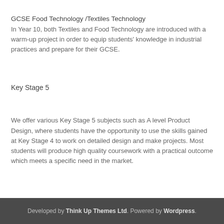GCSE Food Technology /Textiles Technology
In Year 10, both Textiles and Food Technology are introduced with a warm-up project in order to equip students' knowledge in industrial practices and prepare for their GCSE.
Key Stage 5
We offer various Key Stage 5 subjects such as A level Product Design, where students have the opportunity to use the skills gained at Key Stage 4 to work on detailed design and make projects. Most students will produce high quality coursework with a practical outcome which meets a specific need in the market.
Developed by Think Up Themes Ltd. Powered by Wordpress.